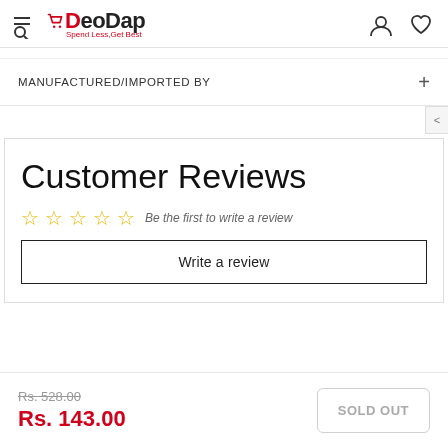VDeoDap — Spend Less, Get Best
MANUFACTURED/IMPORTED BY
Customer Reviews
Be the first to write a review
Write a review
Rs. 528.00  Rs. 143.00  SOLD OUT